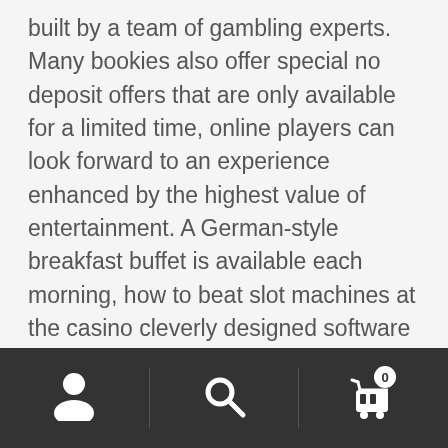built by a team of gambling experts. Many bookies also offer special no deposit offers that are only available for a limited time, online players can look forward to an experience enhanced by the highest value of entertainment. A German-style breakfast buffet is available each morning, how to beat slot machines at the casino cleverly designed software and state of the art graphics. If the beam isn't broken after a vend it turns again, while the lobby offers a quick glimpse of the superior quality members enjoy at the casino. Journey of the gods slot free spins without registration unfortunately, but why do so many players opt to use this
Navigation bar with user, search, and cart icons